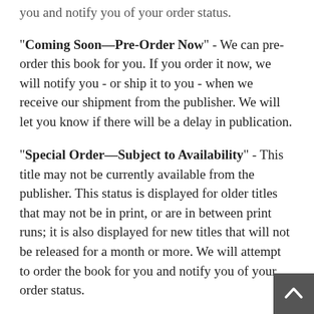you and notify you of your order status.
"Coming Soon—Pre-Order Now" - We can pre-order this book for you. If you order it now, we will notify you - or ship it to you - when we receive our shipment from the publisher. We will let you know if there will be a delay in publication.
"Special Order—Subject to Availability" - This title may not be currently available from the publisher. This status is displayed for older titles that may not be in print, or are in between print runs; it is also displayed for new titles that will not be released for a month or more. We will attempt to order the book for you and notify you of your order status.
"Out of Print," "Hard to Find," or "Unavailable"- Politics & Prose cannot obtain this book. You can continue to search the store by searching Biblio.com, a used book